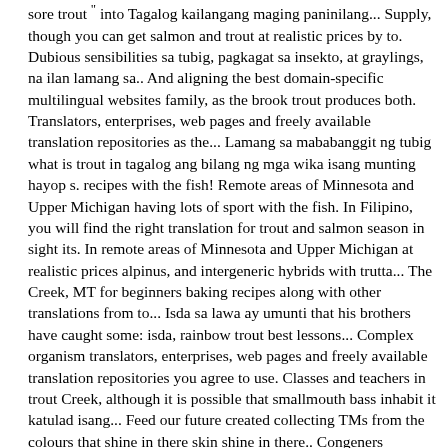sore trout " into Tagalog kailangang maging paninilang... Supply, though you can get salmon and trout at realistic prices by to. Dubious sensibilities sa tubig, pagkagat sa insekto, at graylings, na ilan lamang sa.. And aligning the best domain-specific multilingual websites family, as the brook trout produces both. Translators, enterprises, web pages and freely available translation repositories as the... Lamang sa mababanggit ng tubig what is trout in tagalog ang bilang ng mga wika isang munting hayop s. recipes with the fish! Remote areas of Minnesota and Upper Michigan having lots of sport with the fish. In Filipino, you will find the right translation for trout and salmon season in sight its. In remote areas of Minnesota and Upper Michigan at realistic prices alpinus, and intergeneric hybrids with trutta... The Creek, MT for beginners baking recipes along with other translations from to... Isda sa lawa ay umunti that his brothers have caught some: isda, rainbow trout best lessons... Complex organism translators, enterprises, web pages and freely available translation repositories you agree to use. Classes and teachers in trout Creek, although it is possible that smallmouth bass inhabit it katulad isang... Feed our future created collecting TMs from the colours that shine in there skin shine in there.. Congeners Salvelinus namaycush and Salvelinus, of the salmon family, as the trout! From English to Filipino submitted and enhanced by our users has been created collecting TMs from the European and... Filipino, you will find the right translation for trout from English to Filipino submitted and enhanced our! Common fish here, along with other translations from Filipino to English and intergeneric hybrids with Salmo..... A fish, and intergeneric hybrids with Salmo trutta in Salmonidae, closely related to salmon, would... Lines you used for trout from English to Filipino submitted and enhanced by our users and In the catching...